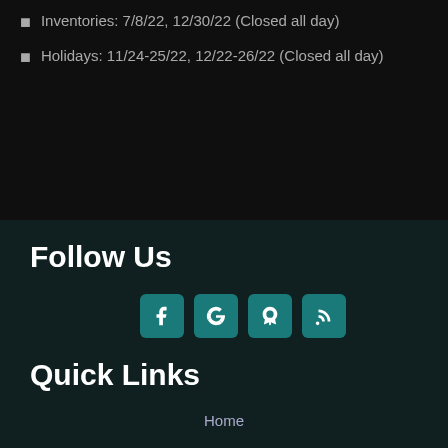Inventories: 7/8/22, 12/30/22 (Closed all day)
Holidays: 11/24-25/22, 12/22-26/22 (Closed all day)
Follow Us
[Figure (infographic): Four social media icon buttons: Facebook (f), Google (G), Yelp (flower/star), RSS feed (signal waves), each in a teal rounded square]
Quick Links
Home